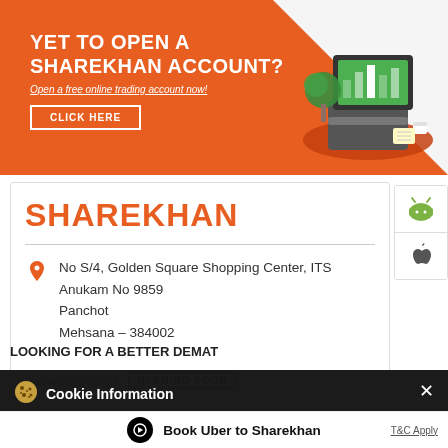[Figure (infographic): Orange banner ad for Sharekhan with text 'YET TO OPEN A SHAREKHAN ACCOUNT? Open a free online trading account now! CLICK HERE' and an illustration of a laptop with trading charts on a red desk]
SHAREKHAN
No S/4, Golden Square Shopping Center, ITS Anukam No 9859 Panchot Mehsana – 384002
Opens at 09:00 AM
OPENING SOON
[Figure (logo): Android app store icon (green Android robot)]
[Figure (logo): Apple app store icon (Apple logo)]
Cookie Information
On our website, we use services (including from third-party providers) that help us to improve our online presence (optimization of website) and to display content that is geared to their interests. We need your consent before being able to use these services.
LOOKING FOR A BETTER DEMAT
Book Uber to Sharekhan
T&C Apply